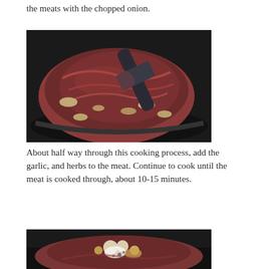the meats with the chopped onion.
[Figure (photo): Raw ground meat being stirred in a dark pan with a black spatula, mixed with chopped onions]
About half way through this cooking process, add the garlic, and herbs to the meat. Continue to cook until the meat is cooked through, about 10-15 minutes.
[Figure (photo): Ground meat in a dark pan with spices and herbs sprinkled on top, including visible white and yellow powders]